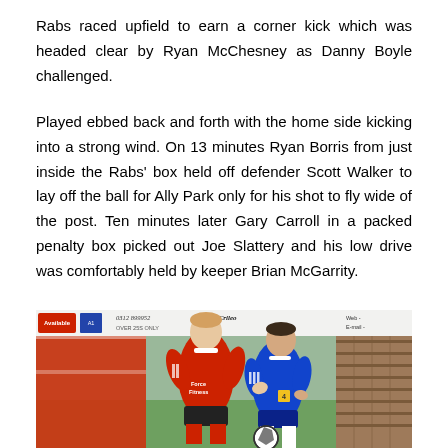Rabs raced upfield to earn a corner kick which was headed clear by Ryan McChesney as Danny Boyle challenged.
Played ebbed back and forth with the home side kicking into a strong wind. On 13 minutes Ryan Borris from just inside the Rabs' box held off defender Scott Walker to lay off the ball for Ally Park only for his shot to fly wide of the post. Ten minutes later Gary Carroll in a packed penalty box picked out Joe Slattery and his low drive was comfortably held by keeper Brian McGarrity.
[Figure (photo): Two football players in a challenge for the ball — one in red kit and one in blue kit — on a grass pitch, with advertising hoardings and a brick wall in the background.]